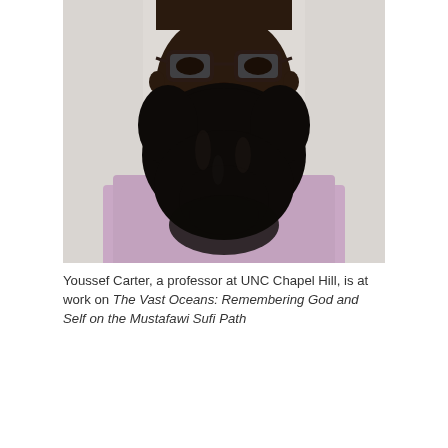[Figure (photo): Photograph of Youssef Carter, a man with a large beard wearing glasses and a light purple/lavender button-down shirt, photographed from the chest up against a white wall background.]
Youssef Carter, a professor at UNC Chapel Hill, is at work on The Vast Oceans: Remembering God and Self on the Mustafawi Sufi Path